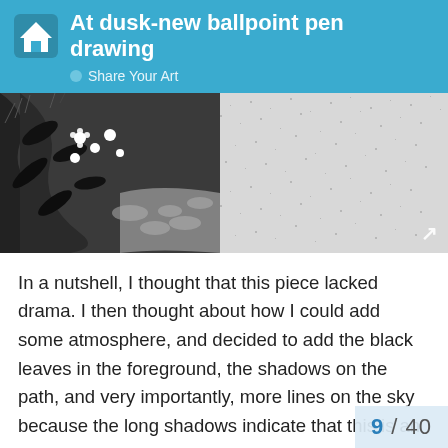At dusk-new ballpoint pen drawing
Share Your Art
[Figure (illustration): Ballpoint pen drawing of a garden path at dusk with black leaves in the foreground, stones on the path, flowers, and a textured sky.]
In a nutshell, I thought that this piece lacked drama. I then thought about how I could add some atmosphere, and decided to add the black leaves in the foreground, the shadows on the path, and very importantly, more lines on the sky because the long shadows indicate that this is an early evening scene, so I needed to darken the sky. Yes, I actually decided that this was a scene at dusk after I drew the shadows! Furthermore, to tell you the truth, I decided the shape of the shadows first and added the plants afterwards too. The whole trial and error took me so much time...this is a small piece, i.e. only B5, bu
9 / 40